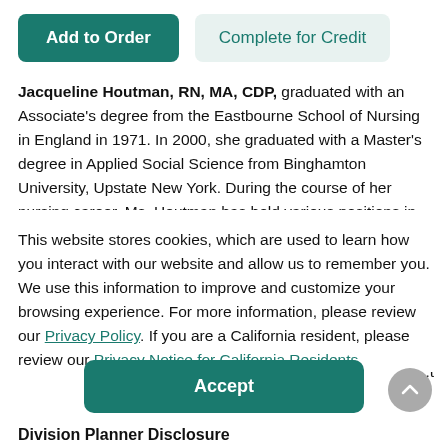[Figure (screenshot): Two buttons: 'Add to Order' (dark teal) and 'Complete for Credit' (light teal)]
Jacqueline Houtman, RN, MA, CDP, graduated with an Associate's degree from the Eastbourne School of Nursing in England in 1971. In 2000, she graduated with a Master's degree in Applied Social Science from Binghamton University, Upstate New York. During the course of her nursing career, Ms. Houtman has held various positions in the acute care hospital setting, including medical, surgical, orthopedic, ophthalmic, and intensive care units,
This website stores cookies, which are used to learn how you interact with our website and allow us to remember you. We use this information to improve and customize your browsing experience. For more information, please review our Privacy Policy. If you are a California resident, please review our Privacy Notice for California Residents.
[Figure (screenshot): Accept button (dark teal) and scroll-to-top circular button (grey)]
Division Planner Disclosure